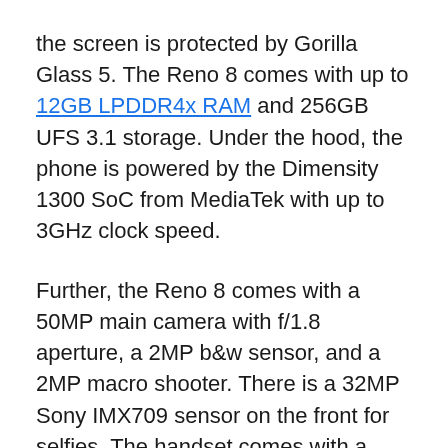the screen is protected by Gorilla Glass 5. The Reno 8 comes with up to 12GB LPDDR4x RAM and 256GB UFS 3.1 storage. Under the hood, the phone is powered by the Dimensity 1300 SoC from MediaTek with up to 3GHz clock speed.
Further, the Reno 8 comes with a 50MP main camera with f/1.8 aperture, a 2MP b&w sensor, and a 2MP macro shooter. There is a 32MP Sony IMX709 sensor on the front for selfies. The handset comes with a 4,500mAh battery and supports 80W fast charging, the same as the other phones.
This device also comes with a MariSilicon X chip. Other features include an in-display fingerprint scanner, Wi-Fi 6, Bluetooth 5.2, NFC, Type-C port, 7.67mm thickness